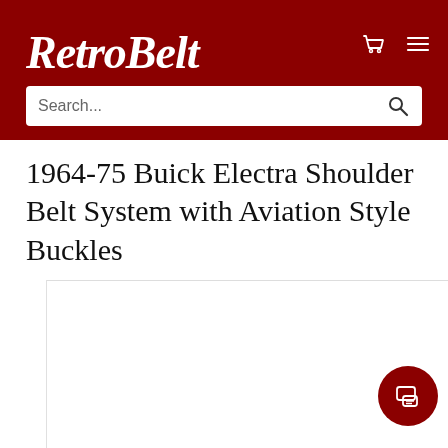RetroBelt
Search...
1964-75 Buick Electra Shoulder Belt System with Aviation Style Buckles
[Figure (photo): Product image area for shoulder belt system, shown in a carousel layout with white background]
[Figure (other): Live chat button - dark red circular button with chat bubble icon in bottom right corner]